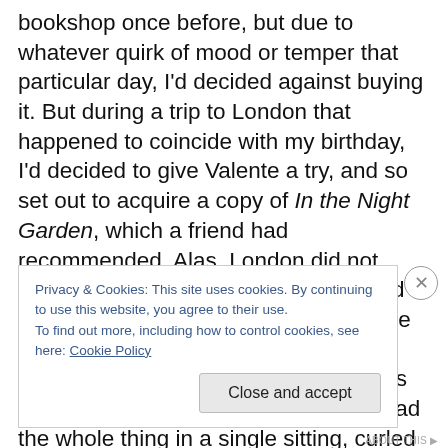bookshop once before, but due to whatever quirk of mood or temper that particular day, I'd decided against buying it. But during a trip to London that happened to coincide with my birthday, I'd decided to give Valente a try, and so set out to acquire a copy of In the Night Garden, which a friend had recommended. Alas, London did not yield me that particular book – but I did find Palimpsest, and so decided, on the basis of the Hugo nomination, that my younger self had no idea what she was talking about. Thus, I bought it, and read the whole thing in a single sitting, curled up in bed in an excruciatingly cheap hotel in
Privacy & Cookies: This site uses cookies. By continuing to use this website, you agree to their use.
To find out more, including how to control cookies, see here: Cookie Policy
Close and accept